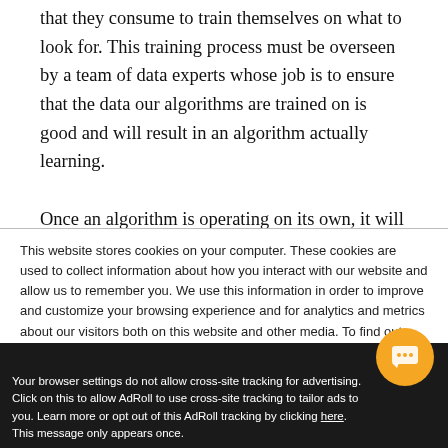that they consume to train themselves on what to look for. This training process must be overseen by a team of data experts whose job is to ensure that the data our algorithms are trained on is good and will result in an algorithm actually learning.
Once an algorithm is operating on its own, it will
This website stores cookies on your computer. These cookies are used to collect information about how you interact with our website and allow us to remember you. We use this information in order to improve and customize your browsing experience and for analytics and metrics about our visitors both on this website and other media. To find out more about the cookies we use, see our Privacy Policy
If you decline, your information won't be tracked when you visit this website. A single cookie will be used in your browser to remember your preference not to be tracked.
Accept
Your browser settings do not allow cross-site tracking for advertising. Click on this to allow AdRoll to use cross-site tracking to tailor ads to you. Learn more or opt out of this AdRoll tracking by clicking here. This message only appears once.